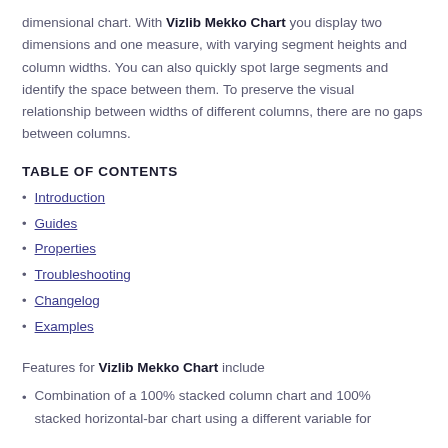dimensional chart. With Vizlib Mekko Chart you display two dimensions and one measure, with varying segment heights and column widths. You can also quickly spot large segments and identify the space between them. To preserve the visual relationship between widths of different columns, there are no gaps between columns.
TABLE OF CONTENTS
Introduction
Guides
Properties
Troubleshooting
Changelog
Examples
Features for Vizlib Mekko Chart include
Combination of a 100% stacked column chart and 100% stacked horizontal-bar chart using a different variable for